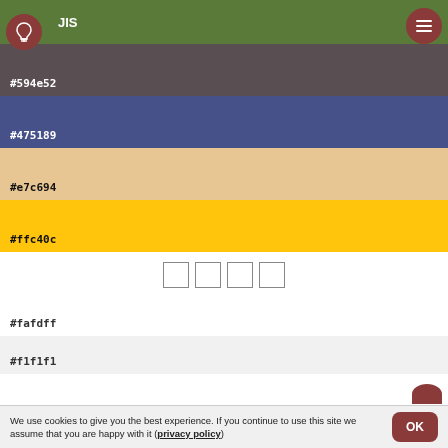[Figure (screenshot): Color palette screenshot showing color swatches with hex codes: green header with icons, dark brown #594e52, blue #475189, tan #e7c694, yellow #ffc40c, white #fafdff, light gray #f1f1f1, with cookie consent banner at bottom]
#594e52
#475189
#e7c694
#ffc40c
#fafdff
#f1f1f1
We use cookies to give you the best experience. If you continue to use this site we assume that you are happy with it (privacy policy)